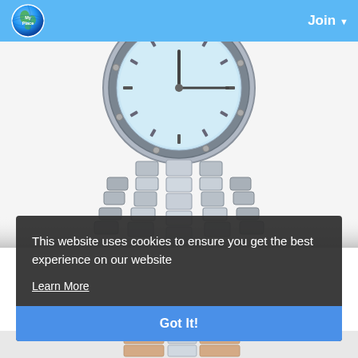MyPlace — Join
[Figure (photo): Close-up photo of a silver stainless steel watch showing the dial face with hour markers and a metallic link bracelet, on a white background]
This website uses cookies to ensure you get the best experience on our website
Learn More
Got It!